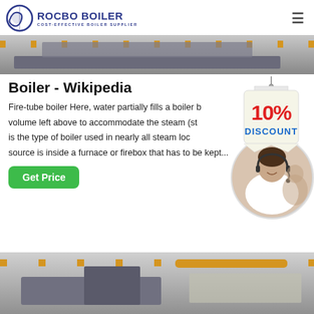ROCBO BOILER — COST-EFFECTIVE BOILER SUPPLIER
[Figure (photo): Industrial boiler equipment with yellow pipes and machinery]
Boiler - Wikipedia
Fire-tube boiler Here, water partially fills a boiler barrel with a small volume left above to accommodate the steam (st... is the type of boiler used in nearly all steam loc... source is inside a furnace or firebox that has to be kept...
[Figure (infographic): 10% DISCOUNT badge hanging sign]
[Figure (photo): Customer service representatives with headsets]
[Figure (photo): Industrial boiler facility with yellow pipes and equipment]